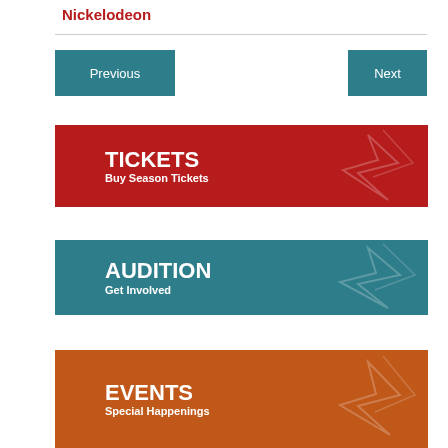Nickelodeon
Previous
Next
[Figure (infographic): Red banner with TICKETS heading and Buy Season Tickets subheading, decorative star graphic on right]
[Figure (infographic): Teal banner with AUDITION heading and Get Involved subheading, decorative star graphic on right]
[Figure (infographic): Orange-brown banner with EVENTS heading and Special Happenings subheading, decorative star graphic on right]